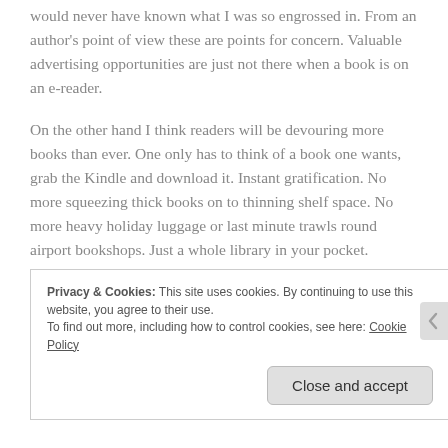would never have known what I was so engrossed in. From an author's point of view these are points for concern. Valuable advertising opportunities are just not there when a book is on an e-reader.
On the other hand I think readers will be devouring more books than ever. One only has to think of a book one wants, grab the Kindle and download it. Instant gratification. No more squeezing thick books on to thinning shelf space. No more heavy holiday luggage or last minute trawls round airport bookshops. Just a whole library in your pocket.
Privacy & Cookies: This site uses cookies. By continuing to use this website, you agree to their use.
To find out more, including how to control cookies, see here: Cookie Policy